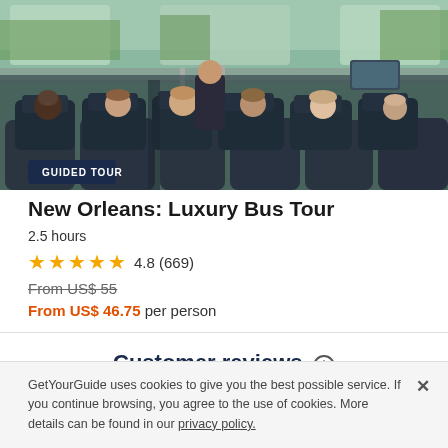[Figure (photo): Interior of a tour bus with passengers seated, facing forward. A guide stands at the front. Viewed from behind the passengers showing headrests and windows with outdoor scenery.]
GUIDED TOUR
New Orleans: Luxury Bus Tour
2.5 hours
★★★★★ 4.8 (669)
From US$ 55
From US$ 46.75 per person
Customer reviews ⓘ
GetYourGuide uses cookies to give you the best possible service. If you continue browsing, you agree to the use of cookies. More details can be found in our privacy policy.